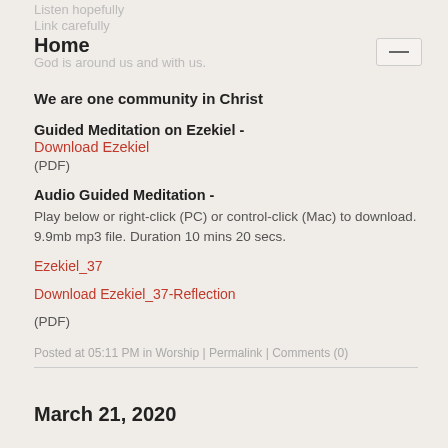Home
We are one community in Christ
Guided Meditation on Ezekiel - Download Ezekiel (PDF)
Audio Guided Meditation - Play below or right-click (PC) or control-click (Mac) to download. 9.9mb mp3 file. Duration 10 mins 20 secs.
Ezekiel_37
Download Ezekiel_37-Reflection (PDF)
Posted at 05:11 PM in Worship | Permalink | Comments (0)
March 21, 2020